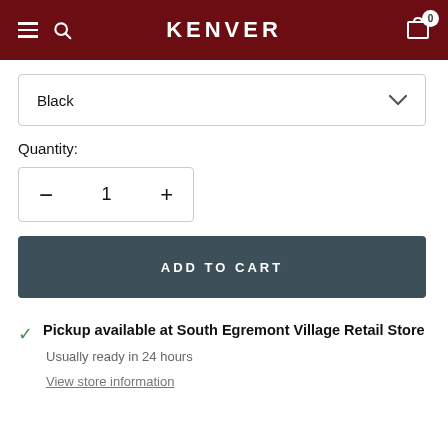KENVER
Black
Quantity:
- 1 +
ADD TO CART
Pickup available at South Egremont Village Retail Store
Usually ready in 24 hours
View store information